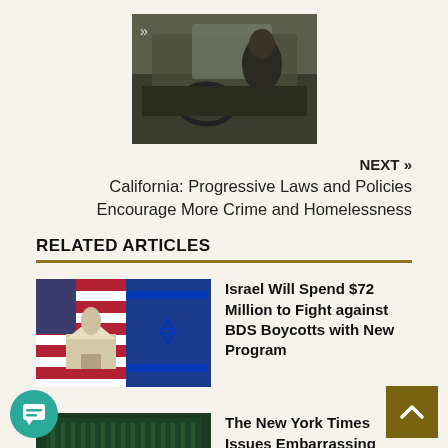[Figure (photo): Small thumbnail image of a person in a vehicle, viewed from inside, dashboard visible]
NEXT »
California: Progressive Laws and Policies Encourage More Crime and Homelessness
RELATED ARTICLES
[Figure (photo): Thumbnail showing US Capitol building overlaid with Israeli flag]
Israel Will Spend $72 Million to Fight against BDS Boycotts with New Program
[Figure (photo): Thumbnail showing New York Times newspaper building/logo]
The New York Times Issues Embarrassing Correction after Claiming 900,000 American Children were Hospitalized for Covid